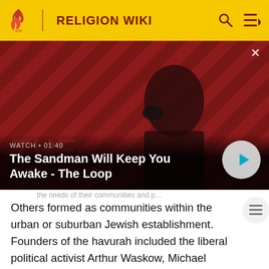RELIGION WIKI
[Figure (screenshot): Video thumbnail showing a dark-cloaked figure with a raven on shoulder against a red diagonal-striped background. Video title: 'The Sandman Will Keep You Awake - The Loop'. Duration: 01:40. Play button overlay.]
Others formed as communities within the urban or suburban Jewish establishment. Founders of the havurah included the liberal political activist Arthur Waskow, Michael Strassfeld (who later became rabbi for a Conservative congregation and then moved on to serve a